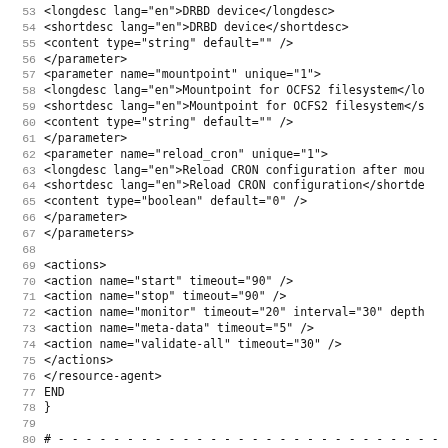Code listing lines 53–85: XML resource agent configuration and shell script fragment